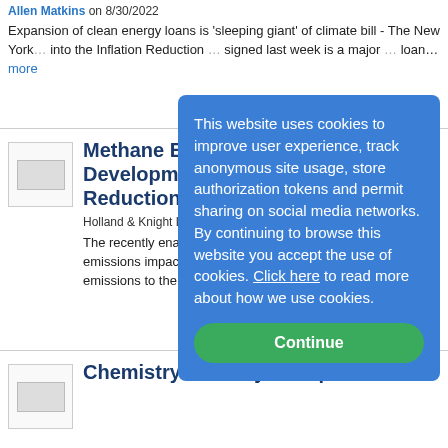Allen Matkins on 8/30/2022
Expansion of clean energy loans is 'sleeping giant' of climate bill - The New York... into the Inflation Reduction... signed last week is a major... loan...more
[Figure (other): Thumbnail image placeholder for article]
Methane Emissi... Developments i... Reduction Act
Holland & Knight LLP on 8/...
The recently enacted Inflatio... contains several new provisi... emissions impacting oil and... upstream and midstream. Co... emissions to the...more
[Figure (other): Thumbnail image placeholder for Chemistry Industry Group article]
Chemistry Industry Group Takes
This website uses cookies to improve user experience, track anonymous site usage, store authorization tokens and permit sharing on social media networks. By continuing to browse this website you accept the use of cookies. Click here to read more about how we use cookies.
Continue